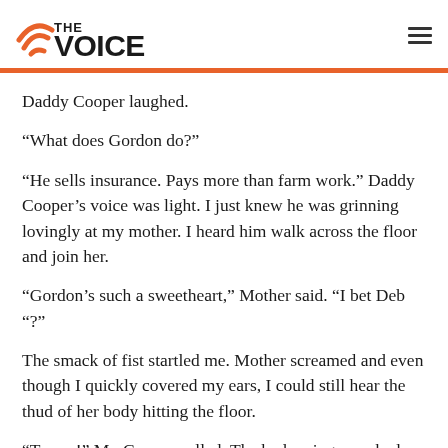THE VOICE
Daddy Cooper laughed.
“What does Gordon do?”
“He sells insurance. Pays more than farm work.” Daddy Cooper’s voice was light. I just knew he was grinning lovingly at my mother. I heard him walk across the floor and join her.
“Gordon’s such a sweetheart,” Mother said. “I bet Deb “?”
The smack of fist startled me. Mother screamed and even though I quickly covered my ears, I could still hear the thud of her body hitting the floor.
“Tramp!” Mr. Cooper yelled. The bed springs creaked as he threw my mother down. “I saw the way you looked at him.”
He hit her again.